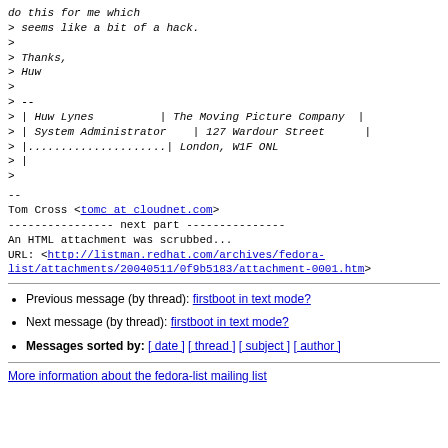> do this for me which
> seems like a bit of a hack.
>
> Thanks,
> Huw
>
> --
> | Huw Lynes          | The Moving Picture Company  |
> | System Administrator    | 127 Wardour Street |
> |.....................| London, W1F 0NL
> |
>
--
Tom Cross <tomc at cloudnet.com>
---------------- next part ---------------
An HTML attachment was scrubbed...
URL: <http://listman.redhat.com/archives/fedora-list/attachments/20040511/0f9b5183/attachment-0001.htm>
Previous message (by thread): firstboot in text mode?
Next message (by thread): firstboot in text mode?
Messages sorted by: [ date ] [ thread ] [ subject ] [ author ]
More information about the fedora-list mailing list